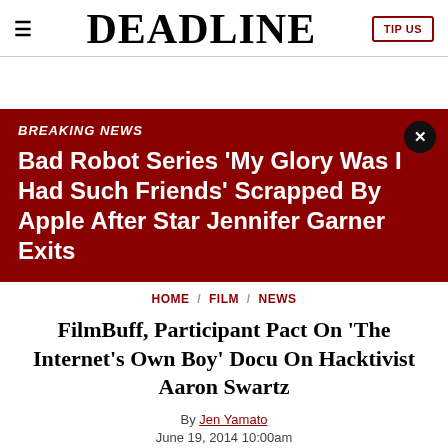DEADLINE | TIP US
BREAKING NEWS
Bad Robot Series ‘My Glory Was I Had Such Friends’ Scrapped By Apple After Star Jennifer Garner Exits
HOME / FILM / NEWS
FilmBuff, Participant Pact On ‘The Internet’s Own Boy’ Docu On Hacktivist Aaron Swartz
By Jen Yamato
June 19, 2014 10:00am